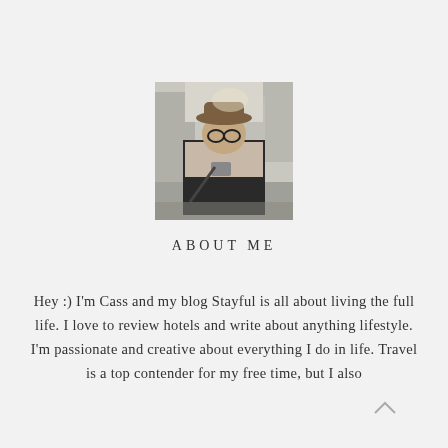[Figure (photo): A person wearing glasses and a wide-brimmed hat, with a scarf, standing outdoors in an urban setting, holding something small.]
ABOUT ME
Hey :) I'm Cass and my blog Stayful is all about living the full life. I love to review hotels and write about anything lifestyle. I'm passionate and creative about everything I do in life. Travel is a top contender for my free time, but I also